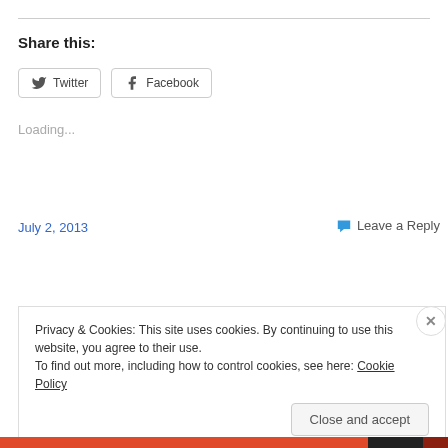Share this:
[Figure (other): Twitter and Facebook share buttons]
Loading...
July 2, 2013
Leave a Reply
Privacy & Cookies: This site uses cookies. By continuing to use this website, you agree to their use.
To find out more, including how to control cookies, see here: Cookie Policy
Close and accept